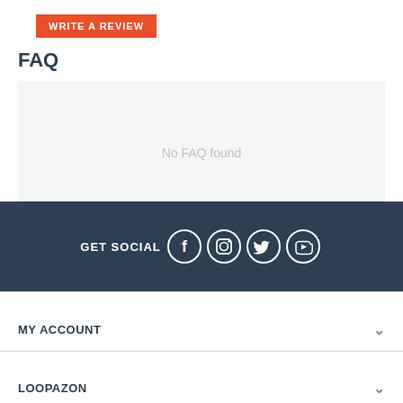[Figure (other): Orange button labeled WRITE A REVIEW]
FAQ
No FAQ found
[Figure (infographic): Dark footer bar with GET SOCIAL text and social media icons: Facebook, Instagram, Twitter, YouTube]
MY ACCOUNT
LOOPAZON